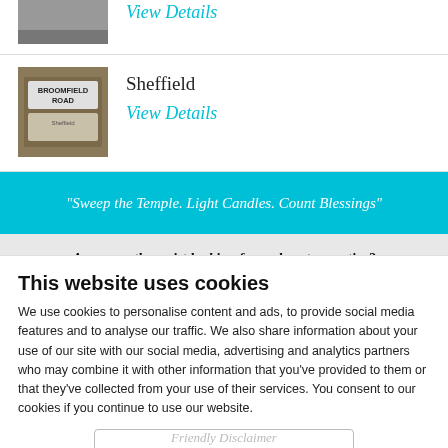[Figure (photo): Partial thumbnail image at top (cropped, gray/dark)]
View Details
[Figure (photo): Thumbnail photo of Broomfield Road street sign in Sheffield]
Sheffield
View Details
"Sweep the Temple. Light Candles. Count Blessings"
Are you a therapist looking for a place to practice?
Visit our room rental pages for further information on how to join The Practice Rooms
This website uses cookies
We use cookies to personalise content and ads, to provide social media features and to analyse our traffic. We also share information about your use of our site with our social media, advertising and analytics partners who may combine it with other information that you've provided to them or that they've collected from your use of their services. You consent to our cookies if you continue to use our website.
Find out more
OK
Settings
Friendly Disclaimer